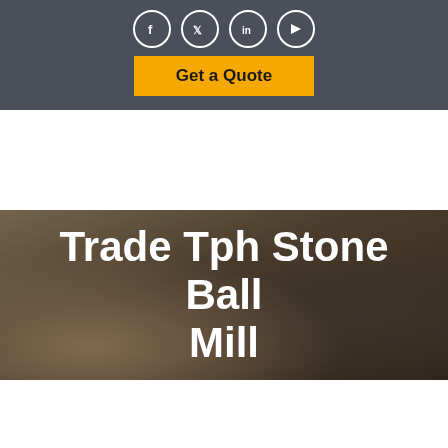[Figure (other): Social media icons (Facebook, Twitter, LinkedIn, YouTube) in circles on dark gray header bar, followed by a yellow 'Get a Quote' button]
[Figure (photo): Hero image background showing a dimly lit interior with pillows and a fireplace/shelving unit, overlaid with large white bold text 'Trade Tph Stone Ball Mill']
Trade Tph Stone Ball Mill